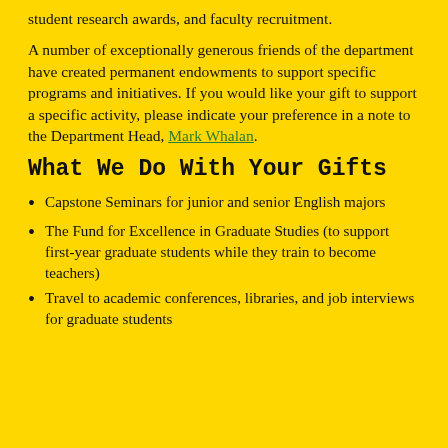student research awards, and faculty recruitment.
A number of exceptionally generous friends of the department have created permanent endowments to support specific programs and initiatives. If you would like your gift to support a specific activity, please indicate your preference in a note to the Department Head, Mark Whalan.
What We Do With Your Gifts
Capstone Seminars for junior and senior English majors
The Fund for Excellence in Graduate Studies (to support first-year graduate students while they train to become teachers)
Travel to academic conferences, libraries, and job interviews for graduate students